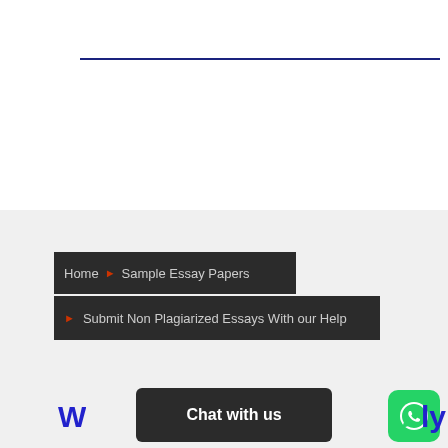[Figure (other): Horizontal blue decorative line separator near top of page]
Home ▶ Sample Essay Papers
▶ Submit Non Plagiarized Essays With our Help
Chat with us
[Figure (logo): WhatsApp green rounded square icon with phone handset graphic]
W... ...ly (blue bold partial text visible at bottom)